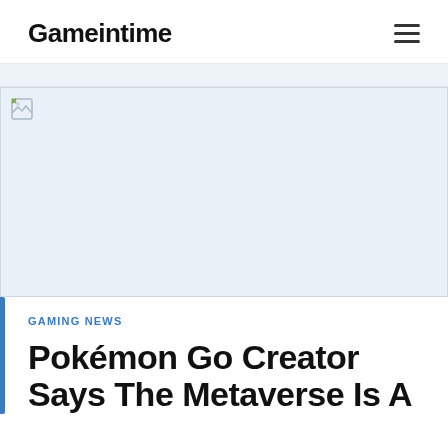Gameintime
[Figure (photo): Hero image placeholder (broken image icon visible), large banner image area with light blue-gray background]
GAMING NEWS
Pokémon Go Creator Says The Metaverse Is A